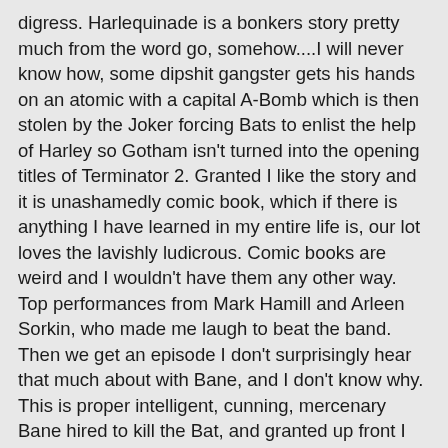digress. Harlequinade is a bonkers story pretty much from the word go, somehow....I will never know how, some dipshit gangster gets his hands on an atomic with a capital A-Bomb which is then stolen by the Joker forcing Bats to enlist the help of Harley so Gotham isn't turned into the opening titles of Terminator 2. Granted I like the story and it is unashamedly comic book, which if there is anything I have learned in my entire life is, our lot loves the lavishly ludicrous. Comic books are weird and I wouldn't have them any other way. Top performances from Mark Hamill and Arleen Sorkin, who made me laugh to beat the band. Then we get an episode I don't surprisingly hear that much about with Bane, and I don't know why. This is proper intelligent, cunning, mercenary Bane hired to kill the Bat, and granted up front I haven't read Knightfall it is on my list, but this really really seems like Knightfall Bane in animated form. They get so much character info on him in 22 minutes that would please any hardcore Batman fan, his life sentence in prison, Project Gilgamesh, Bane's obsession with the Bat, his tactical thinking, Venom, he even almost does the back breaker move, and remember Bane wasn't even in the comics yet for 5 years. He was introduced in 1993, so it's